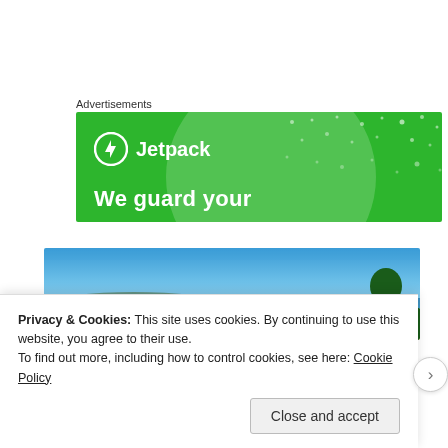Advertisements
[Figure (screenshot): Jetpack advertisement banner on green background with circle graphic, logo and tagline 'We guard your']
[Figure (photo): Panoramic beach/coastal scene with blue sky, blue-green water, sandy beach, distant headlands, and trees on the right side]
Privacy & Cookies: This site uses cookies. By continuing to use this website, you agree to their use.
To find out more, including how to control cookies, see here: Cookie Policy
Close and accept